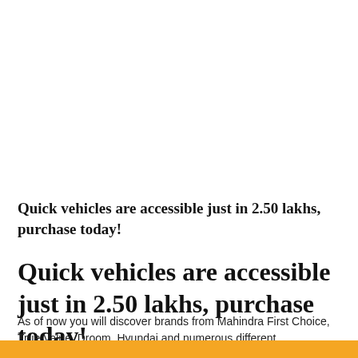Quick vehicles are accessible just in 2.50 lakhs, purchase today!
Quick vehicles are accessible just in 2.50 lakhs, purchase today!
As of now you will discover brands from Mahindra First Choice, True Value, Droom, Hyundai and numerous different organizations.
[Figure (other): Orange decorative bar at bottom of page]